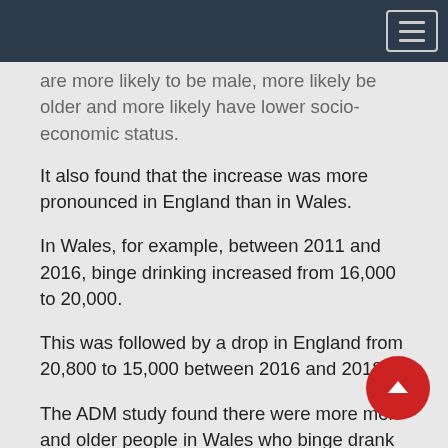are more likely to be male, more likely be older and more likely have lower socio-economic status.
It also found that the increase was more pronounced in England than in Wales.
In Wales, for example, between 2011 and 2016, binge drinking increased from 16,000 to 20,000.
This was followed by a drop in England from 20,800 to 15,000 between 2016 and 2018.
The ADM study found there were more men and older people in Wales who binge drank in the first four weeks of the study than in the second half of the year.
It's a trend that may be partly explained by the fact